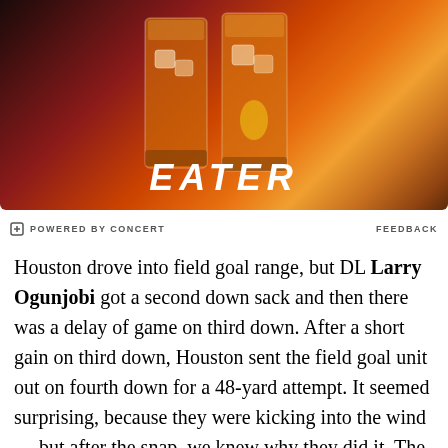[Figure (photo): Two glasses of amber-colored drinks (likely whiskey or cocktails) with ice on a wooden surface against a dark red background. The word EATER is overlaid in white bold italic text at the bottom center of the image.]
POWERED BY CONCERT   FEEDBACK
Houston drove into field goal range, but DL Larry Ogunjobi got a second down sack and then there was a delay of game on third down. After a short gain on third down, Houston sent the field goal unit out on fourth down for a 48-yard attempt. It seemed surprising, because they were kicking into the wind — but after the snap, we knew why they did it. The snap went to the kicker, who pooch punted the ball down to